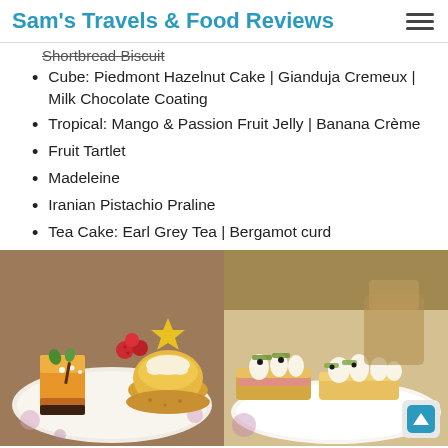Sam's Travels & Food Reviews
Shortbread Biscuit (partial, cut off)
Cube: Piedmont Hazelnut Cake | Gianduja Cremeux | Milk Chocolate Coating
Tropical: Mango & Passion Fruit Jelly | Banana Crème
Fruit Tartlet
Madeleine
Iranian Pistachio Praline
Tea Cake: Earl Grey Tea | Bergamot curd
[Figure (photo): Two side-by-side photos of decorative pastries and cakes on a white floral plate. Left photo shows colorful petit fours and a round tartlet. Right photo shows elongated cakes topped with cream and pistachio.]
Each cake was as beautiful at is was tasty. The “Cube” and